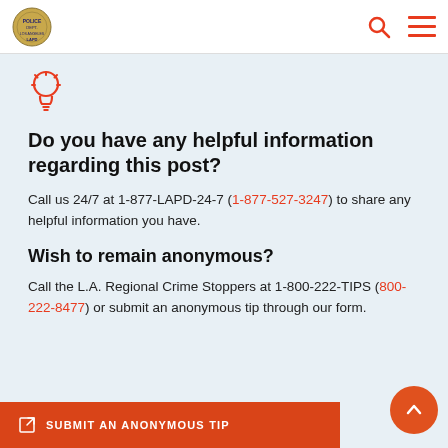LAPD
[Figure (illustration): Light bulb icon in orange/red outline style]
Do you have any helpful information regarding this post?
Call us 24/7 at 1-877-LAPD-24-7 (1-877-527-3247) to share any helpful information you have.
Wish to remain anonymous?
Call the L.A. Regional Crime Stoppers at 1-800-222-TIPS (800-222-8477) or submit an anonymous tip through our form.
SUBMIT AN ANONYMOUS TIP